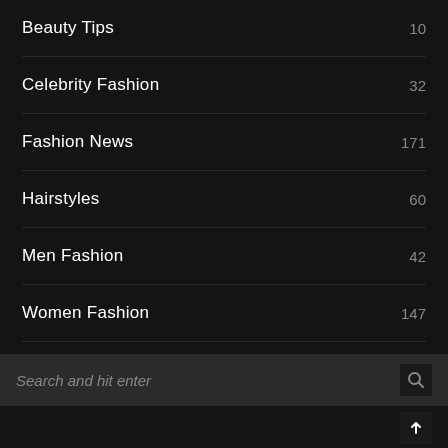Beauty Tips  10
Celebrity Fashion  32
Fashion News  171
Hairstyles  60
Men Fashion  42
Women Fashion  147
Search and hit enter